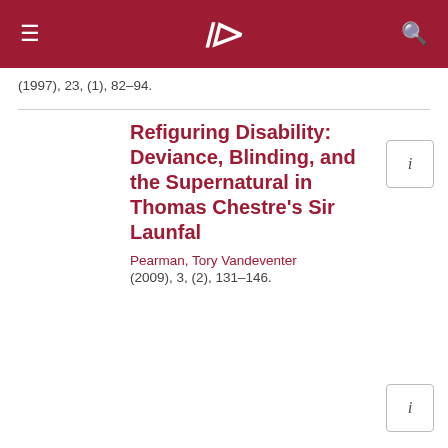≡  )  🔍
(1997), 23, (1), 82–94.
Refiguring Disability: Deviance, Blinding, and the Supernatural in Thomas Chestre's Sir Launfal
Pearman, Tory Vandeventer
(2009), 3, (2), 131–146.
Reading Catullus